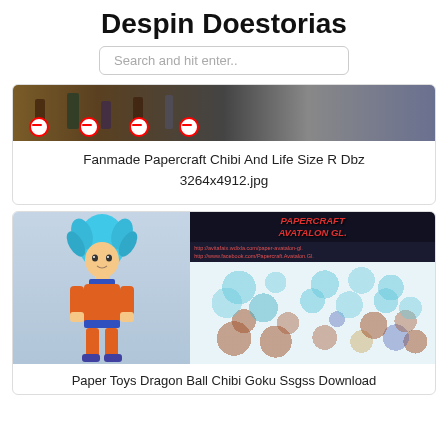Despin Doestorias
Search and hit enter..
[Figure (photo): Partial view of chibi and life size papercraft figures on a surface with no-entry signs]
Fanmade Papercraft Chibi And Life Size R Dbz 3264x4912.jpg
[Figure (photo): Paper toy Dragon Ball chibi Goku SSGSS figure with papercraft parts sheet showing colored pieces]
Paper Toys Dragon Ball Chibi Goku Ssgss Download